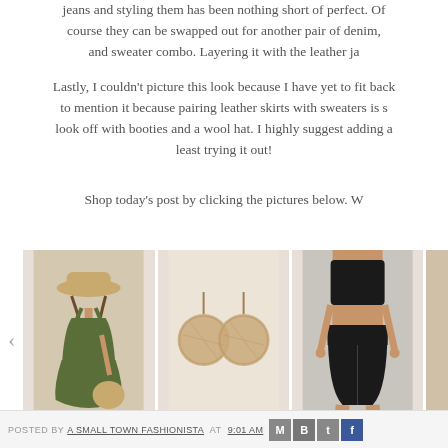jeans and styling them has been nothing short of perfect. Of course they can be swapped out for another pair of denim, and sweater combo. Layering it with the leather ja
Lastly, I couldn't picture this look because I have yet to fit back to mention it because pairing leather skirts with sweaters is s look off with booties and a wool hat. I highly suggest adding a least trying it out!
Shop today's post by clicking the pictures below. W
[Figure (photo): Carousel of product images: olive green dress with hat, tan circular earrings, black crop top with bike shorts, and partial fourth item]
POSTED BY A SMALL TOWN FASHIONISTA AT 9:01 AM